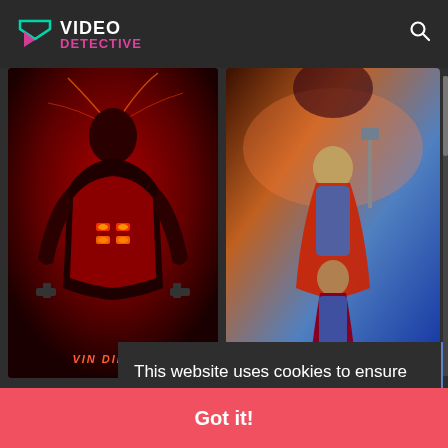VIDEO DETECTIVE
[Figure (photo): Movie poster for Bloodshot featuring Vin Diesel in red lighting with glowing chest implants]
[Figure (photo): Movie poster for Thor: Love and Thunder featuring Thor and other Marvel characters with colorful cosmic background]
Bloc
Sci-Fi
87
This website uses cookies to ensure you get the best experience on our website.
Learn more
Got it!